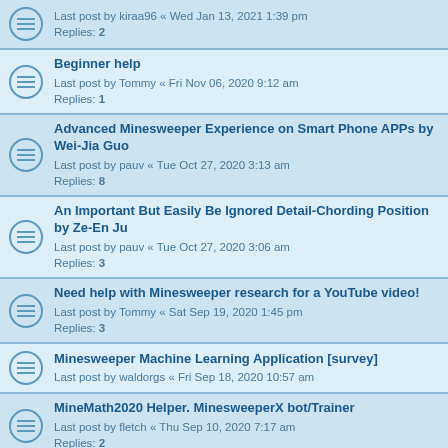Last post by kiraa96 « Wed Jan 13, 2021 1:39 pm
Replies: 2
Beginner help
Last post by Tommy « Fri Nov 06, 2020 9:12 am
Replies: 1
Advanced Minesweeper Experience on Smart Phone APPs by Wei-Jia Guo
Last post by pauv « Tue Oct 27, 2020 3:13 am
Replies: 8
An Important But Easily Be Ignored Detail-Chording Position by Ze-En Ju
Last post by pauv « Tue Oct 27, 2020 3:06 am
Replies: 3
Need help with Minesweeper research for a YouTube video!
Last post by Tommy « Sat Sep 19, 2020 1:45 pm
Replies: 3
Minesweeper Machine Learning Application [survey]
Last post by waldorgs « Fri Sep 18, 2020 10:57 am
MineMath2020 Helper. MinesweeperX bot/Trainer
Last post by fletch « Thu Sep 10, 2020 7:17 am
Replies: 2
Why is there guessing in Minesweeper?
Last post by fletch « Thu Aug 27, 2020 1:41 am
Replies: 4
Lowest Minesweeper Beginner time
Last post by Cryslon « Sun Aug 23, 2020 2:19 pm
Replies: 3